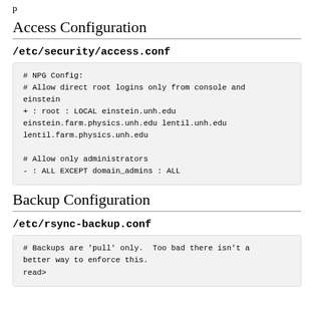p
Access Configuration
/etc/security/access.conf
# NPG Config:
# Allow direct root logins only from console and einstein
+ : root : LOCAL einstein.unh.edu einstein.farm.physics.unh.edu lentil.unh.edu lentil.farm.physics.unh.edu

# Allow only administrators
- : ALL EXCEPT domain_admins : ALL
Backup Configuration
/etc/rsync-backup.conf
# Backups are 'pull' only.  Too bad there isn't a better way to enforce this.
read only        = yes